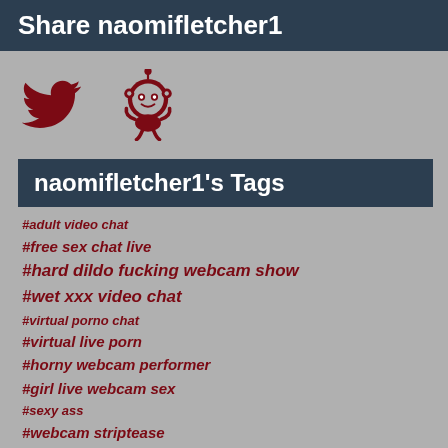Share naomifletcher1
[Figure (illustration): Twitter bird icon and Reddit alien icon, both in dark red color]
naomifletcher1's Tags
#adult video chat
#free sex chat live
#hard dildo fucking webcam show
#wet xxx video chat
#virtual porno chat
#virtual live porn
#horny webcam performer
#girl live webcam sex
#sexy ass
#webcam striptease